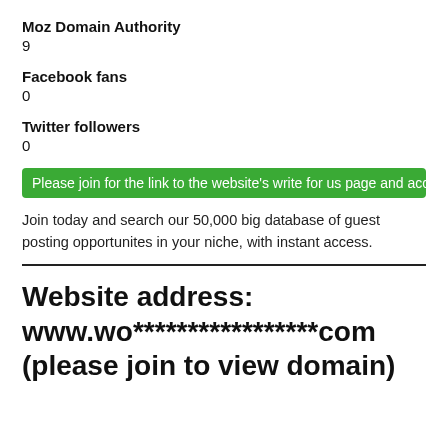Moz Domain Authority
9
Facebook fans
0
Twitter followers
0
Please join for the link to the website's write for us page and access to
Join today and search our 50,000 big database of guest posting opportunites in your niche, with instant access.
Website address: www.wo*****************com (please join to view domain)